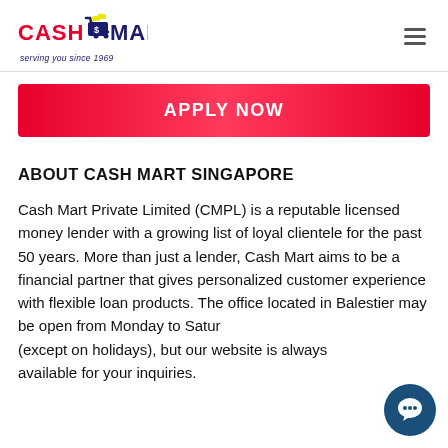Cash Mart — serving you since 1969
APPLY NOW
ABOUT CASH MART SINGAPORE
Cash Mart Private Limited (CMPL) is a reputable licensed money lender with a growing list of loyal clientele for the past 50 years. More than just a lender, Cash Mart aims to be a financial partner that gives personalized customer experience with flexible loan products. The office located in Balestier may be open from Monday to Saturday (except on holidays), but our website is always available for your inquiries.